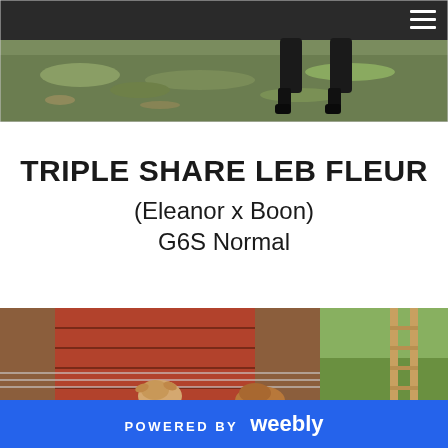[Figure (photo): Top portion of a photo showing dark-colored goat legs and hooves on grassy ground, with a dark header bar at top containing a hamburger menu icon in the upper right corner.]
TRIPLE SHARE LEB FLEUR
(Eleanor x Boon)
G6S Normal
[Figure (photo): Bottom photo showing goats near a wooden barn structure with wire fencing, green grass and wooden ladder visible in background.]
POWERED BY weebly